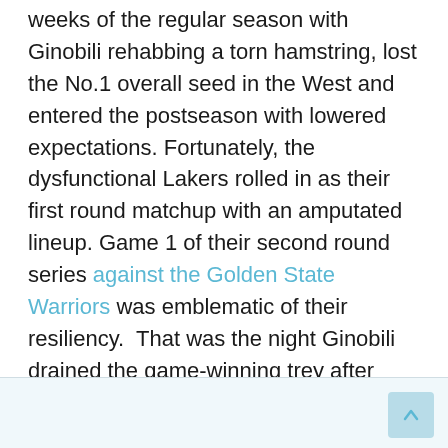weeks of the regular season with Ginobili rehabbing a torn hamstring, lost the No.1 overall seed in the West and entered the postseason with lowered expectations. Fortunately, the dysfunctional Lakers rolled in as their first round matchup with an amputated lineup. Game 1 of their second round series against the Golden State Warriors was emblematic of their resiliency.  That was the night Ginobili drained the game-winning trey after missing his previous seven shots.
Ginobili staggered through the first two games of the Memphis Grizzlies series like Bruce Wayne with a cane, but Saturday night marked the valiant return of BatManu.